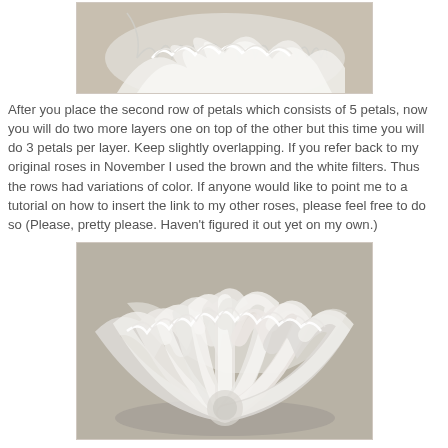[Figure (photo): White ruffled flower petals arranged in layers, photographed against a beige/tan background. The petals appear to be made from coffee filters, showing the top/side view of partial rose construction.]
After you place the second row of petals which consists of 5 petals, now you will do two more layers one on top of the other but this time you will do 3 petals per layer.  Keep slightly overlapping.  If you refer back to my original roses in November I used the brown and the white filters.  Thus the rows had variations of color.  If anyone would like to point me to a tutorial on how to insert the link to my other roses, please feel free to do so (Please, pretty please.  Haven't figured it out yet on my own.)
[Figure (photo): White coffee filter rose construction showing multiple layered petals fanned out in a semicircle arrangement, viewed from the side/front. The petals are ruffled white coffee filters arranged to form a flower shape against a warm beige background.]